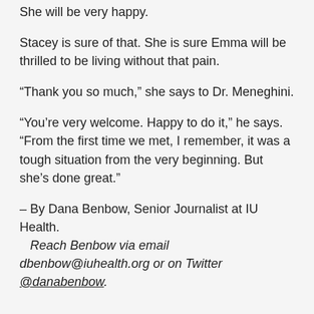She will be very happy.
Stacey is sure of that. She is sure Emma will be thrilled to be living without that pain.
“Thank you so much,” she says to Dr. Meneghini.
“You’re very welcome. Happy to do it,” he says. “From the first time we met, I remember, it was a tough situation from the very beginning. But she’s done great.”
– By Dana Benbow, Senior Journalist at IU Health. Reach Benbow via email dbenbow@iuhealth.org or on Twitter @danabenbow.
Categories :  General